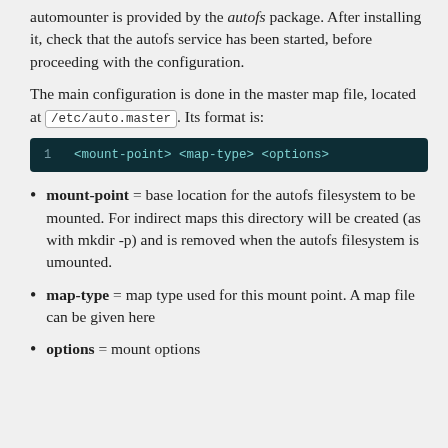automounter is provided by the autofs package. After installing it, check that the autofs service has been started, before proceeding with the configuration.
The main configuration is done in the master map file, located at /etc/auto.master. Its format is:
1   <mount-point> <map-type> <options>
mount-point = base location for the autofs filesystem to be mounted. For indirect maps this directory will be created (as with mkdir -p) and is removed when the autofs filesystem is umounted.
map-type = map type used for this mount point. A map file can be given here
options = mount options